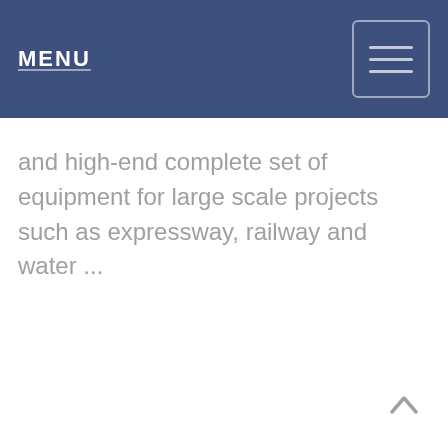MENU
and high-end complete set of equipment for large scale projects such as expressway, railway and water ...